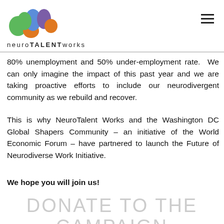[Figure (logo): NeuroTalent Works logo — colorful brain-cloud shape with green, orange, blue, purple lobes, above the text 'neuroTALENTworks']
80% unemployment and 50% under-employment rate. We can only imagine the impact of this past year and we are taking proactive efforts to include our neurodivergent community as we rebuild and recover.
This is why NeuroTalent Works and the Washington DC Global Shapers Community – an initiative of the World Economic Forum – have partnered to launch the Future of Neurodiverse Work Initiative.
We hope you will join us!
DONATE TO THE CAMPAIGN